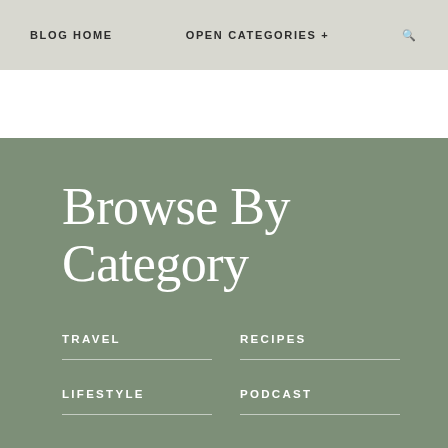BLOG HOME    OPEN CATEGORIES +    🔍
Browse By Category
TRAVEL
RECIPES
LIFESTYLE
PODCAST